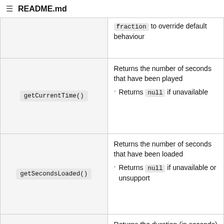README.md
| Method | Description |
| --- | --- |
|  | `fraction` to override default behaviour |
| getCurrentTime() | Returns the number of seconds that have been played
◦ Returns null if unavailable |
| getSecondsLoaded() | Returns the number of seconds that have been loaded
◦ Returns null if unavailable or unsupport |
| getDuration() | Returns the duration (in seconds) of the currently playing media
◦ Returns ... if dura... |